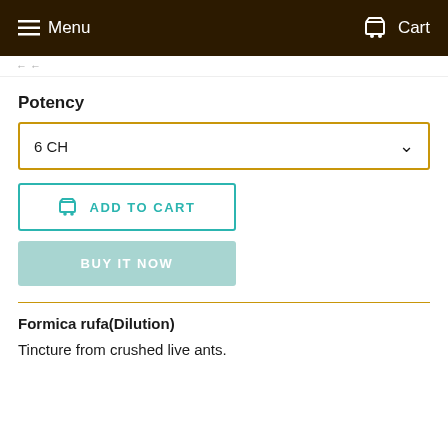Menu  Cart
Potency
6 CH
ADD TO CART
BUY IT NOW
Formica rufa(Dilution)
Tincture from crushed live ants.